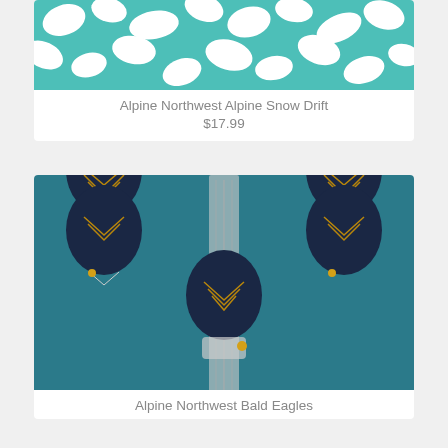[Figure (photo): Close-up of teal/turquoise and white abstract fabric pattern called Alpine Snow Drift]
Alpine Northwest Alpine Snow Drift
$17.99
[Figure (photo): Dark teal blue fabric with navy and gold geometric bald eagle motif pattern]
Alpine Northwest Bald Eagles